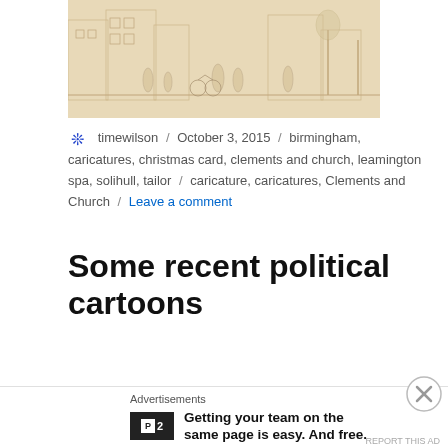[Figure (illustration): A sepia-toned pencil sketch illustration showing a busy street scene with people, bicycles, and buildings in an old-fashioned style.]
timewilson / October 3, 2015 / birmingham, caricatures, christmas card, clements and church, leamington spa, solihull, tailor / caricature, caricatures, Clements and Church / Leave a comment
Some recent political cartoons
[Figure (illustration): Partial view of a political cartoon showing a caricature with black hair and a speech bubble reading 'MY COUNTRY BENEFITS FROM']
Advertisements
Getting your team on the same page is easy. And free.